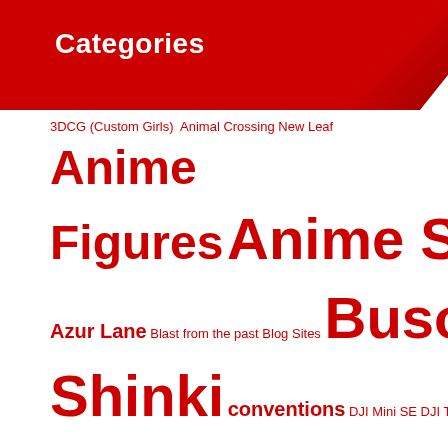Categories
3DCG (Custom Girls) Animal Crossing New Leaf Anime Figures Anime Stuff Azone/Dollfie Azur Lane Blast from the past Blog Sites Busou Shinki conventions DJI Mini SE DJI Tello Drone E2046 Ferrari Figma Figma/Grail War First Glance Reviews Flight Sim Food and Drinks Fox Spirits Frame Arms Girl Gaming Stuff Gundam Holiday Celebration Japanese topics KanColle Local events Nature